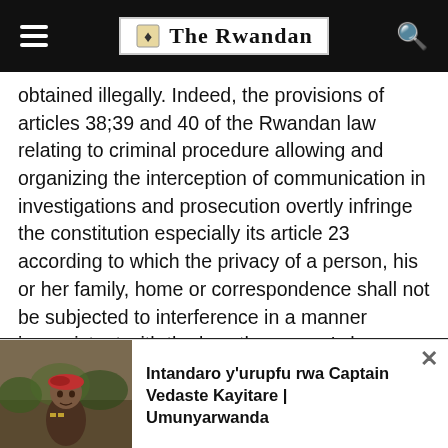The Rwandan
obtained illegally. Indeed, the provisions of articles 38;39 and 40 of the Rwandan law relating to criminal procedure allowing and organizing the interception of communication in investigations and prosecution overtly infringe the constitution especially its article 23 according to which the privacy of a person, his or her family, home or correspondence shall not be subjected to interference in a manner inconsistent with the law; the person's honor and dignity shall be respected. a person's home is inviolable. no search or entry into a home shall be carried out without the consent of the owner, except in circumstances and in accordance with procedures determined by the law.
We use cookies to ensure that we give you the best experience on
Intandaro y'urupfu rwa Captain Vedaste Kayitare | Umunyarwanda